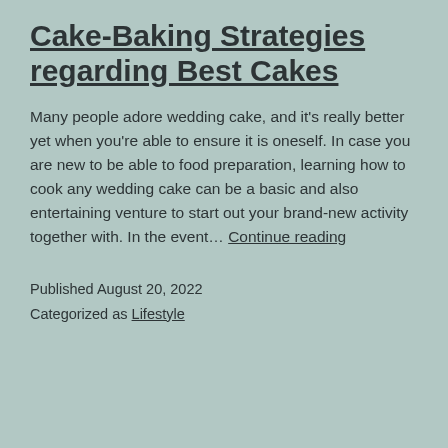Cake-Baking Strategies regarding Best Cakes
Many people adore wedding cake, and it's really better yet when you're able to ensure it is oneself. In case you are new to be able to food preparation, learning how to cook any wedding cake can be a basic and also entertaining venture to start out your brand-new activity together with. In the event… Continue reading
Published August 20, 2022
Categorized as Lifestyle